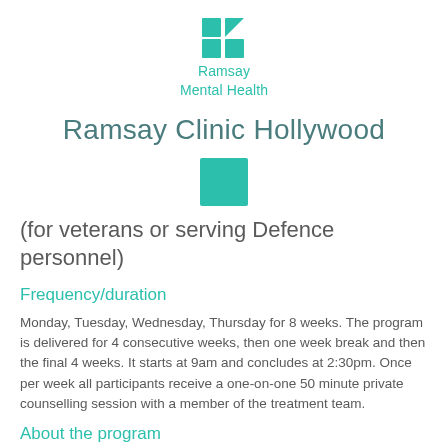[Figure (logo): Ramsay Mental Health logo with teal grid icon and two-line text]
Ramsay Clinic Hollywood
[Figure (other): Teal square decorative element]
(for veterans or serving Defence personnel)
Frequency/duration
Monday, Tuesday, Wednesday, Thursday for 8 weeks. The program is delivered for 4 consecutive weeks, then one week break and then the final 4 weeks. It starts at 9am and concludes at 2:30pm. Once per week all participants receive a one-on-one 50 minute private counselling session with a member of the treatment team.
About the program